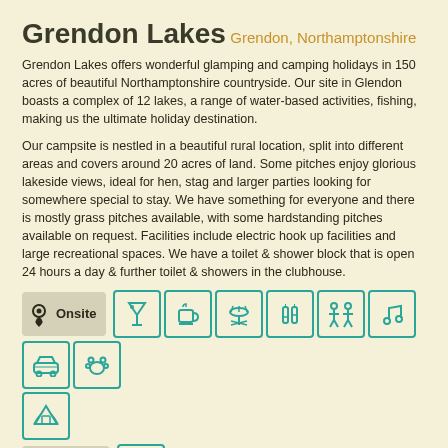Grendon Lakes
Grendon, Northamptonshire
Grendon Lakes offers wonderful glamping and camping holidays in 150 acres of beautiful Northamptonshire countryside. Our site in Glendon boasts a complex of 12 lakes, a range of water-based activities, fishing, making us the ultimate holiday destination.
Our campsite is nestled in a beautiful rural location, split into different areas and covers around 20 acres of land. Some pitches enjoy glorious lakeside views, ideal for hen, stag and larger parties looking for somewhere special to stay. We have something for everyone and there is mostly grass pitches available, with some hardstanding pitches available on request. Facilities include electric hook up facilities and large recreational spaces. We have a toilet & shower block that is open 24 hours a day & further toilet & showers in the clubhouse.
[Figure (infographic): Onsite amenities icons row: location pin with 'Onsite' label, followed by teal-bordered icons for cocktail/bar, cafe/tea, BBQ/grill, drinks/bar, sports/people, music/entertainment, parking/car, pets. Second row: tent/accommodation icon. Nearby row with location pin 'Nearby' label and a further icon.]